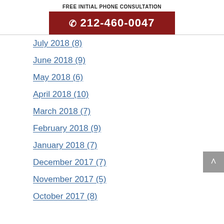FREE INITIAL PHONE CONSULTATION
☎ 212-460-0047
July 2018 (8)
June 2018 (9)
May 2018 (6)
April 2018 (10)
March 2018 (7)
February 2018 (9)
January 2018 (7)
December 2017 (7)
November 2017 (5)
October 2017 (8)